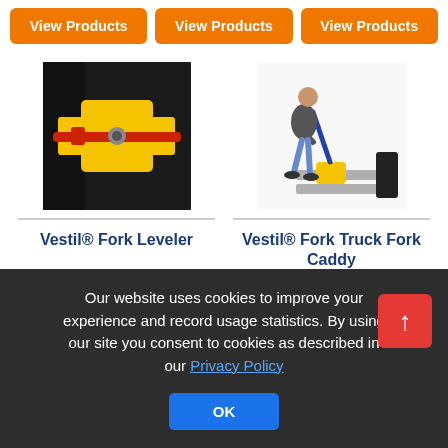View Products | View Products | View Products
[Figure (photo): Yellow and red fork leveler attachment close-up on a black forklift mast]
[Figure (photo): Worker using a fork truck fork caddy tool to move forklift forks, yellow caddy on silver forks, dark background]
Vestil® Fork Leveler
Vestil® Fork Truck Fork Caddy
Our website uses cookies to improve your experience and record usage statistics. By using our site you consent to cookies as described in our Privacy Policy
OK